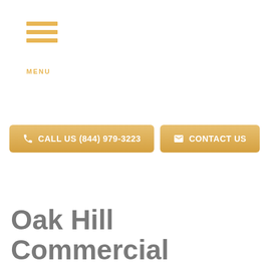[Figure (logo): Hamburger menu icon with three horizontal orange/gold bars and MENU label below]
[Figure (infographic): Two orange/gold call-to-action buttons: 'CALL US (844) 979-3223' with phone icon, and 'CONTACT US' with envelope icon]
Oak Hill Commercial